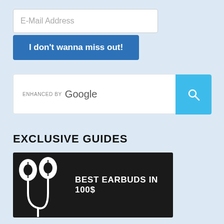E-Mail Address
I don't wanna miss out!
[Figure (screenshot): Search bar with 'ENHANCED BY Google' label and a cyan search button with magnifying glass icon]
EXCLUSIVE GUIDES
[Figure (illustration): Dark banner image with white earbuds icon on the left and text 'BEST EARBUDS IN 100$' on the right]